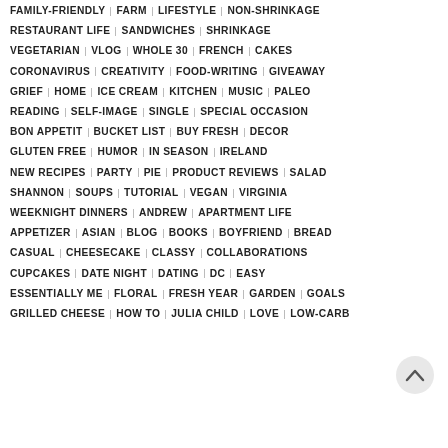FAMILY-FRIENDLY  FARM  LIFESTYLE  NON-SHRINKAGE
RESTAURANT LIFE  SANDWICHES  SHRINKAGE
VEGETARIAN  VLOG  WHOLE 30  FRENCH  CAKES
CORONAVIRUS  CREATIVITY  FOOD-WRITING  GIVEAWAY
GRIEF  HOME  ICE CREAM  KITCHEN  MUSIC  PALEO
READING  SELF-IMAGE  SINGLE  SPECIAL OCCASION
BON APPETIT  BUCKET LIST  BUY FRESH  DECOR
GLUTEN FREE  HUMOR  IN SEASON  IRELAND
NEW RECIPES  PARTY  PIE  PRODUCT REVIEWS  SALAD
SHANNON  SOUPS  TUTORIAL  VEGAN  VIRGINIA
WEEKNIGHT DINNERS  ANDREW  APARTMENT LIFE
APPETIZER  ASIAN  BLOG  BOOKS  BOYFRIEND  BREAD
CASUAL  CHEESECAKE  CLASSY  COLLABORATIONS
CUPCAKES  DATE NIGHT  DATING  DC  EASY
ESSENTIALLY ME  FLORAL  FRESH YEAR  GARDEN  GOALS
GRILLED CHEESE  HOW TO  JULIA CHILD  LOVE  LOW-CARB